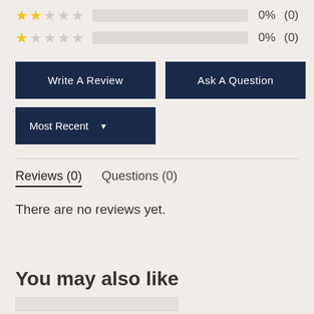[Figure (infographic): Two star rating rows: 2-star row with empty progress bar showing 0% (0), and 1-star row with empty progress bar showing 0% (0)]
Write A Review
Ask A Question
Most Recent (dropdown)
Reviews (0)
Questions (0)
There are no reviews yet.
You may also like